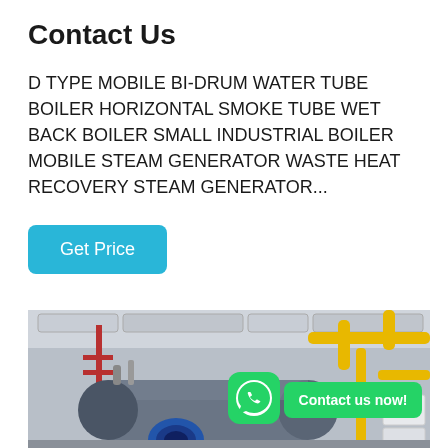Contact Us
D TYPE MOBILE BI-DRUM WATER TUBE BOILER HORIZONTAL SMOKE TUBE WET BACK BOILER SMALL INDUSTRIAL BOILER MOBILE STEAM GENERATOR WASTE HEAT RECOVERY STEAM GENERATOR...
Get Price
[Figure (photo): Industrial boiler room showing a large horizontal cylindrical boiler with a blue burner assembly, surrounded by yellow gas pipes, insulated ductwork on the ceiling, and red metal framework. A WhatsApp icon and 'Contact us now!' bubble overlay is visible in the center-right.]